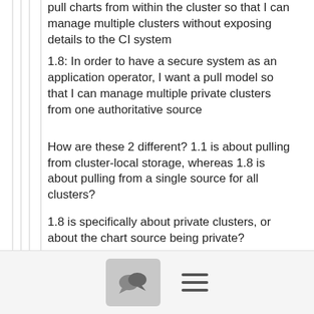pull charts from within the cluster so that I can manage multiple clusters without exposing details to the CI system
1.8: In order to have a secure system as an application operator, I want a pull model so that I can manage multiple private clusters from one authoritative source
How are these 2 different? 1.1 is about pulling from cluster-local storage, whereas 1.8 is about pulling from a single source for all clusters?
1.8 is specifically about private clusters, or about the chart source being private?
Pulling is in contrast to, say, a CI